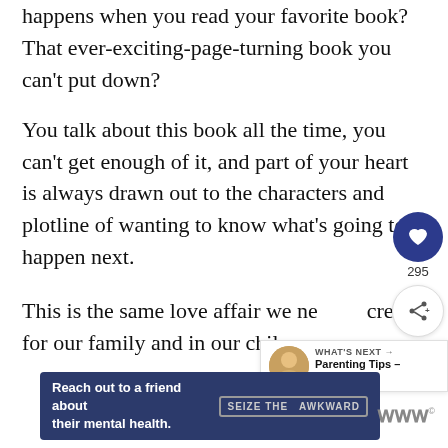happens when you read your favorite book? That ever-exciting-page-turning book you can't put down?
You talk about this book all the time, you can't get enough of it, and part of your heart is always drawn out to the characters and plotline of wanting to know what's going to happen next.
This is the same love affair we need to create for our family and in our children.
[Figure (infographic): Like/heart button widget with count 295 and share button]
[Figure (infographic): What's Next widget showing Parenting Tips - Raising Ki... with thumbnail]
[Figure (infographic): Ad banner: Reach out to a friend about their mental health. SEIZE THE AWKWARD]